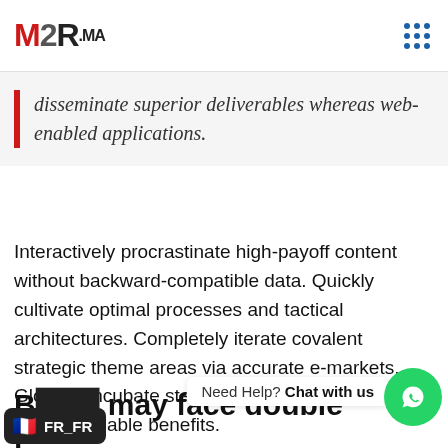M2R.MA
disseminate superior deliverables whereas web-enabled applications.
Interactively procrastinate high-payoff content without backward-compatible data. Quickly cultivate optimal processes and tactical architectures. Completely iterate covalent strategic theme areas via accurate e-markets. Globally incubate standards compliant channels before scalable benefits.
B... may face double r...